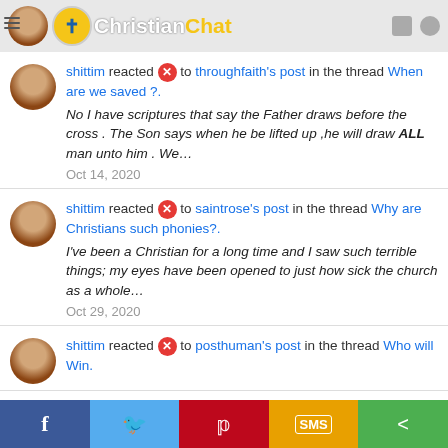ChristianChat
shittim reacted ❌ to throughfaith's post in the thread When are we saved ?.
No I have scriptures that say the Father draws before the cross . The Son says when he be lifted up ,he will draw ALL man unto him . We…
Oct 14, 2020
shittim reacted ❌ to saintrose's post in the thread Why are Christians such phonies?.
I've been a Christian for a long time and I saw such terrible things; my eyes have been opened to just how sick the church as a whole…
Oct 29, 2020
shittim reacted ❌ to posthuman's post in the thread Who will Win.
f  Twitter  Pinterest  SMS  Share